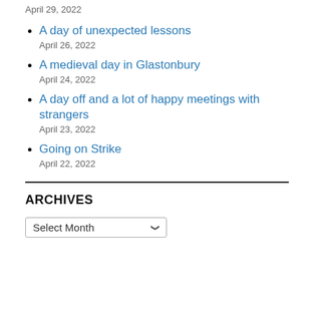April 29, 2022
A day of unexpected lessons
April 26, 2022
A medieval day in Glastonbury
April 24, 2022
A day off and a lot of happy meetings with strangers
April 23, 2022
Going on Strike
April 22, 2022
ARCHIVES
Select Month